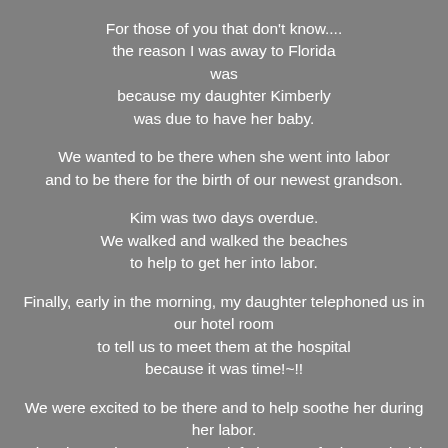For those of you that don't know....
the reason I was away to Florida
was
because my daughter Kimberly
was due to have her baby.
We wanted to be there when she went into labor
and to be there for the birth of our newest grandson.
Kim was two days overdue.
We walked and walked the beaches
to help to get her into labor.
Finally, early in the morning, my daughter telephoned us in
our hotel room
to tell us to meet them at the hospital
because it was time!~!!
We were excited to be there and to help soothe her during
her labor.
When it was time to push, we left the room for her and Nick